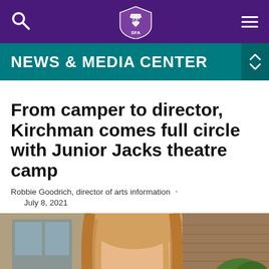NEWS & MEDIA CENTER
From camper to director, Kirchman comes full circle with Junior Jacks theatre camp
Robbie Goodrich, director of arts information · July 8, 2021
[Figure (photo): Portrait photo of a person with blond hair outdoors near brick building and shrubs]